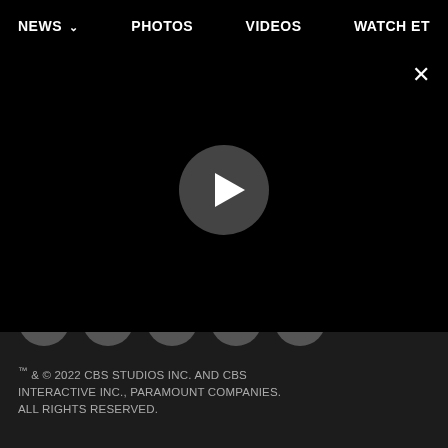NEWS ∨   PHOTOS   VIDEOS   WATCH ET
[Figure (screenshot): Video player area with a play button circle on black background, and a close (X) button in the top right]
[Figure (infographic): Row of social media icon buttons: Facebook, Twitter, Instagram, YouTube, RSS]
™ & © 2022 CBS STUDIOS INC. AND CBS INTERACTIVE INC., PARAMOUNT COMPANIES. ALL RIGHTS RESERVED.